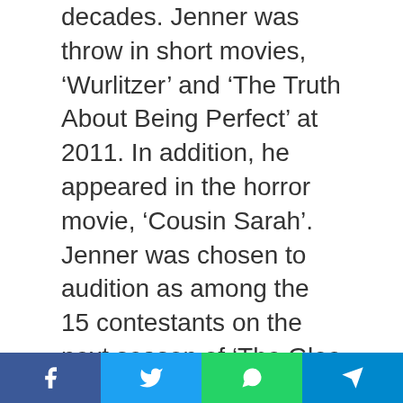decades. Jenner was throw in short movies, 'Wurlitzer' and 'The Truth About Being Perfect' at 2011. In addition, he appeared in the horror movie, 'Cousin Sarah'. Jenner was chosen to audition as among the 15 contestants on the next season of 'The Glee Project' that was an Oxygen fact contest. He won the series and as a trophy won the bonded seven-episode arc about the subsequent season of Glee. After looking as Ryder Lynn about the fourth summer of Glee, he won the Teen Choice Award for Choice TV Breakout Star. Jenner was promoted into the fifth period of their 'Glee' series Together with co-stars, Melissa Benoist, Jacob Artist
Social share bar: Facebook, Twitter, WhatsApp, Telegram